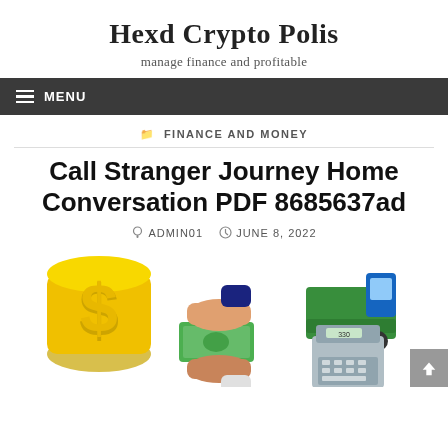Hexd Crypto Polis
manage finance and profitable
MENU
FINANCE AND MONEY
Call Stranger Journey Home Conversation PDF 8685637ad
ADMIN01   JUNE 8, 2022
[Figure (illustration): Illustration showing a gold dollar sign, two hands exchanging cash, a delivery truck, and a cash register]